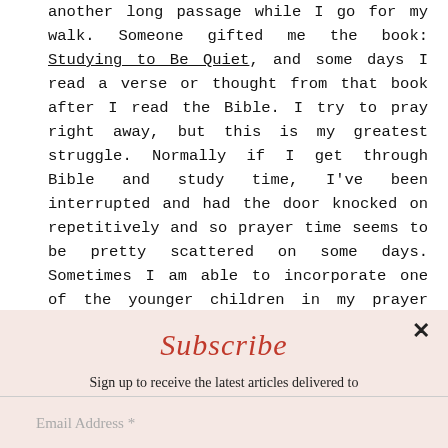another long passage while I go for my walk. Someone gifted me the book: Studying to Be Quiet, and some days I read a verse or thought from that book after I read the Bible. I try to pray right away, but this is my greatest struggle. Normally if I get through Bible and study time, I've been interrupted and had the door knocked on repetitively and so prayer time seems to be pretty scattered on some days. Sometimes I am able to incorporate one of the younger children in my prayer time.  I also use any 'down' time...for prayer: when I'm blow drying my hair, if I happen to be alone in the car, when I'm walking.  I also
Subscribe
Sign up to receive the latest articles delivered to your inbox as soon as they are posted.
Email Address *